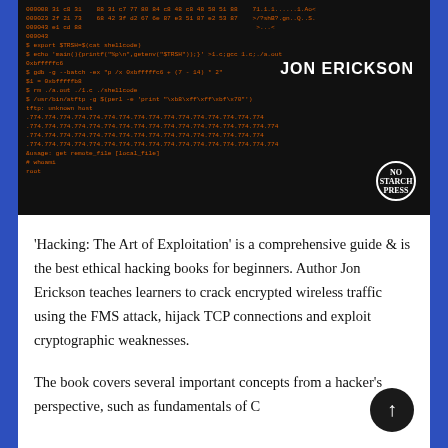[Figure (illustration): Book cover of 'Hacking: The Art of Exploitation' by Jon Erickson showing a black background with orange terminal/code text and the author's name in white uppercase letters]
'Hacking: The Art of Exploitation' is a comprehensive guide & is the best ethical hacking books for beginners. Author Jon Erickson teaches learners to crack encrypted wireless traffic using the FMS attack, hijack TCP connections and exploit cryptographic weaknesses.
The book covers several important concepts from a hacker's perspective, such as fundamentals of C